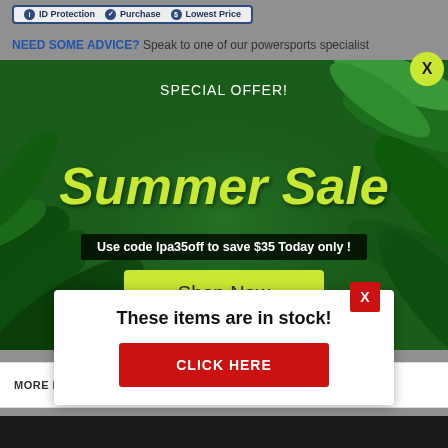[Figure (screenshot): Top navigation bar with icons: ID Protection, Purchase, Lowest Price]
NEED SOME ADVICE? Speak to one of our powersports specialist
[Figure (infographic): Summer Sale popup banner on dark green tropical background. Text: SPECIAL OFFER!, Summer Sale, Use code lpa35off to save $35 Today only!, Shop Now button. Yellow-green close X button top right.]
[Figure (infographic): White popup: These items are in stock! with red CLICK HERE button and red X close button.]